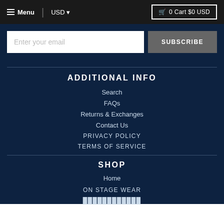Menu | USD ▾   0 Cart $0 USD
Enter your email
SUBSCRIBE
ADDITIONAL INFO
Search
FAQs
Returns & Exchanges
Contact Us
PRIVACY POLICY
TERMS OF SERVICE
SHOP
Home
ON STAGE WEAR